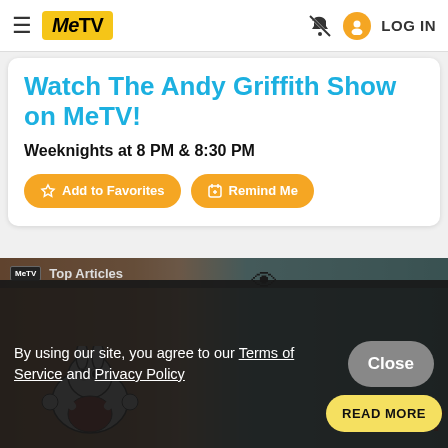MeTV — LOG IN
Watch The Andy Griffith Show on MeTV!
Weeknights at 8 PM & 8:30 PM
Add to Favorites   Remind Me
[Figure (screenshot): Partial cartoon/poster image showing reversed 'PRIVATE EYE' text at top and a cartoon character (Bugs Bunny) with 'BUNNY' text at bottom right]
Top Articles
By using our site, you agree to our Terms of Service and Privacy Policy
Close
READ MORE